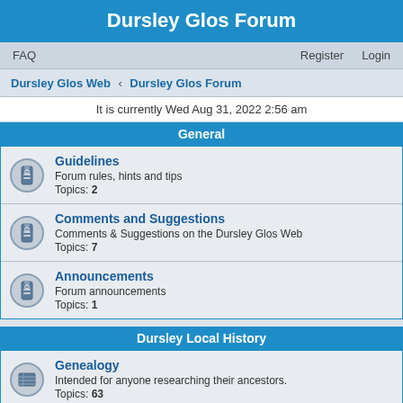Dursley Glos Forum
FAQ   Register   Login
Dursley Glos Web › Dursley Glos Forum
It is currently Wed Aug 31, 2022 2:56 am
General
Guidelines
Forum rules, hints and tips
Topics: 2
Comments and Suggestions
Comments & Suggestions on the Dursley Glos Web
Topics: 7
Announcements
Forum announcements
Topics: 1
Dursley Local History
Genealogy
Intended for anyone researching their ancestors.
Topics: 63
Old photographs of the Dursley area
Have a photo of old Dursley to share? Post here to see if anyone can add